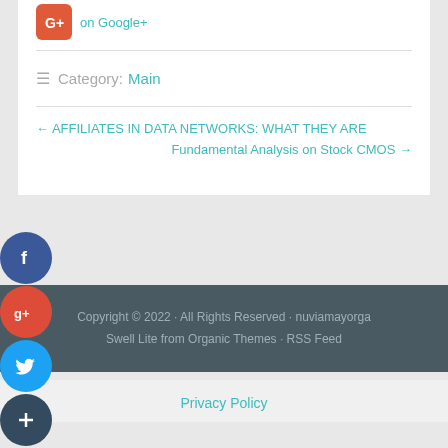[Figure (logo): Google+ icon (red rounded square with G+ logo) and link text 'on Google+']
Category: Main
← AFFILIATES IN DATA NETWORKS: WHAT THEY ARE
Fundamental Analysis on Stock CMOS →
[Figure (illustration): Facebook social share button (dark blue circle with F icon)]
[Figure (illustration): Google+ social share button (red circle with G+ icon)]
[Figure (illustration): Twitter social share button (light blue circle with bird icon)]
[Figure (illustration): More social share button (dark blue circle with + icon)]
Copyright © 2022 · All Rights Reserved · nuviamayorga Swell Lite from Organic Themes · RSS Feed
Privacy Policy